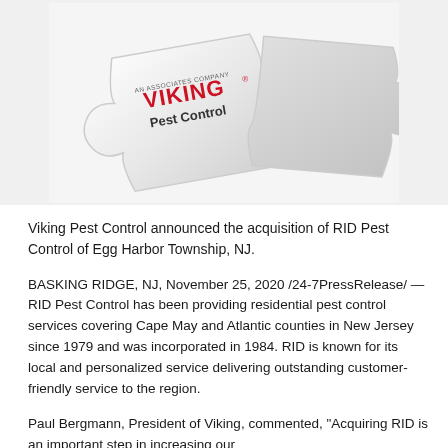[Figure (illustration): Viking Pest Control logo on white puzzle pieces interlocking against a white background]
Viking Pest Control announced the acquisition of RID Pest Control of Egg Harbor Township, NJ.
BASKING RIDGE, NJ, November 25, 2020 /24-7PressRelease/ — RID Pest Control has been providing residential pest control services covering Cape May and Atlantic counties in New Jersey since 1979 and was incorporated in 1984. RID is known for its local and personalized service delivering outstanding customer-friendly service to the region.
Paul Bergmann, President of Viking, commented, "Acquiring RID is an important step in increasing our